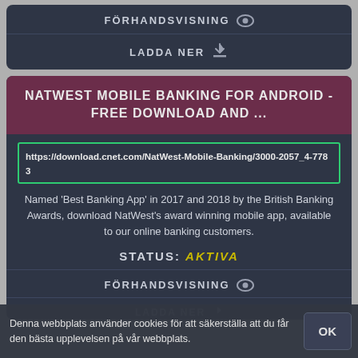FÖRHANDSVISNING
LADDA NER
NATWEST MOBILE BANKING FOR ANDROID - FREE DOWNLOAD AND ...
https://download.cnet.com/NatWest-Mobile-Banking/3000-2057_4-7783
Named 'Best Banking App' in 2017 and 2018 by the British Banking Awards, download NatWest's award winning mobile app, available to our online banking customers.
STATUS: AKTIVA
FÖRHANDSVISNING
LADDA NER
Denna webbplats använder cookies för att säkerställa att du får den bästa upplevelsen på vår webbplats.